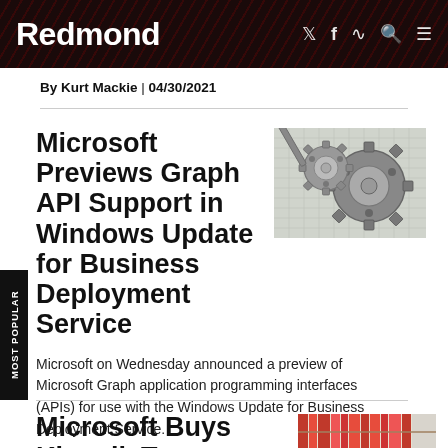Redmond
By Kurt Mackie | 04/30/2021
Microsoft Previews Graph API Support in Windows Update for Business Deployment Service
[Figure (photo): Close-up photo of mechanical gears on a grid paper background]
Microsoft on Wednesday announced a preview of Microsoft Graph application programming interfaces (APIs) for use with the Windows Update for Business Deployment Service.
By Kurt Mackie | 04/29/2021
Microsoft Buys Kinvolk To